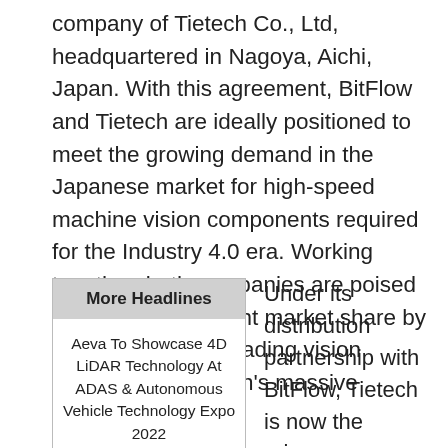company of Tietech Co., Ltd, headquartered in Nagoya, Aichi, Japan. With this agreement, BitFlow and Tietech are ideally positioned to meet the growing demand in the Japanese market for high-speed machine vision components required for the Industry 4.0 era. Working together, both companies are poised to capture significant market share by bringing industry-leading vision technology to Japan's massive industrial base.
More Headlines
Aeva To Showcase 4D LiDAR Technology At ADAS & Autonomous Vehicle Technology Expo 2022
Under its distribution partnership with BitFlow, Tietech is now the primary distributor of BitFlow grabbers and accessories in